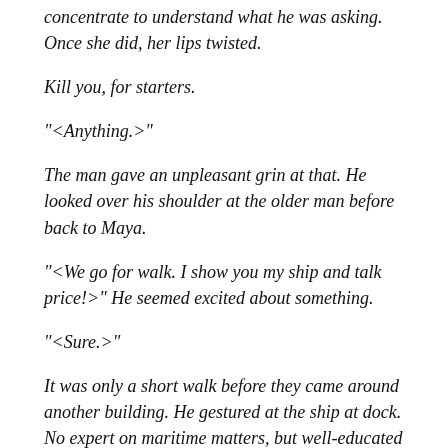concentrate to understand what he was asking. Once she did, her lips twisted.
Kill you, for starters.
"<Anything.>"
The man gave an unpleasant grin at that. He looked over his shoulder at the older man before back to Maya.
"<We go for walk. I show you my ship and talk price!>" He seemed excited about something.
"<Sure.>"
It was only a short walk before they came around another building. He gestured at the ship at dock. No expert on maritime matters, but well-educated by Neuroi in a little bit of everything, she guessed it